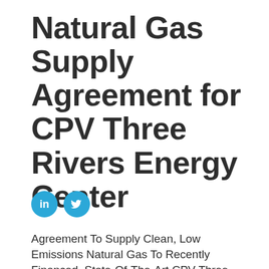Natural Gas Supply Agreement for CPV Three Rivers Energy Center
[Figure (infographic): LinkedIn and Twitter social share icons (two teal/blue circles with 'in' and bird logos)]
Agreement To Supply Clean, Low Emissions Natural Gas To Recently Financed, State-Of-The-Art CPV Three Rivers Energy Center In Grundy County, Illinois